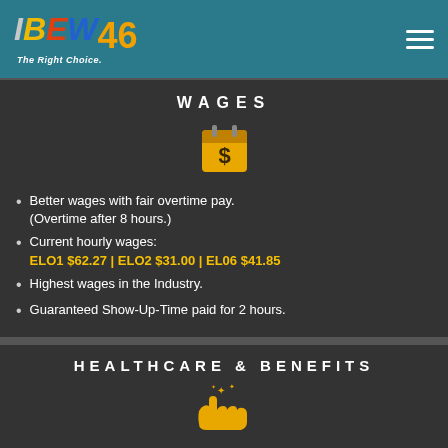IBEW 46 The Right Choice.
WAGES
[Figure (illustration): Yellow calendar icon with dollar sign]
Better wages with fair overtime pay. (Overtime after 8 hours.)
Current hourly wages: ELO1 $62.27 | ELO2 $31.00 | EL06 $41.85
Highest wages in the Industry.
Guaranteed Show-Up-Time paid for 2 hours.
HEALTHCARE & BENEFITS
[Figure (illustration): Yellow hand with sparkles icon]
Great medical for the Entire Family!! (Employer Paid!)
Three Pension Plans! (Most non-union shops offer NO